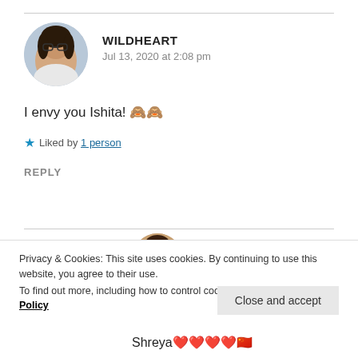[Figure (photo): Round avatar photo of a young woman wearing glasses, with a building in the background]
WILDHEART
Jul 13, 2020 at 2:08 pm
I envy you Ishita! 🙈🙈
★ Liked by 1 person
REPLY
[Figure (photo): Partial round avatar photo at bottom]
Privacy & Cookies: This site uses cookies. By continuing to use this website, you agree to their use.
To find out more, including how to control cookies, see here: Cookie Policy
Close and accept
Shreya❤️❤️❤️❤️🇨🇳